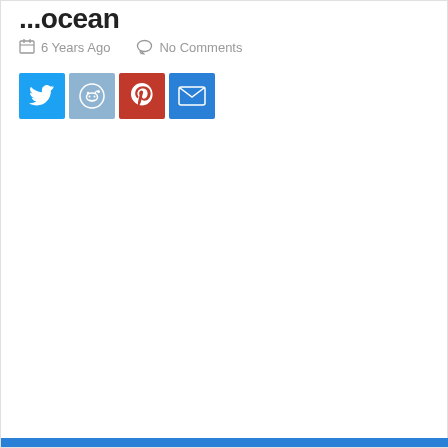...ocean
6 Years Ago   No Comments
[Figure (infographic): Four social share buttons: Twitter (blue), Reddit (light blue), Pinterest (red), Email (blue)]